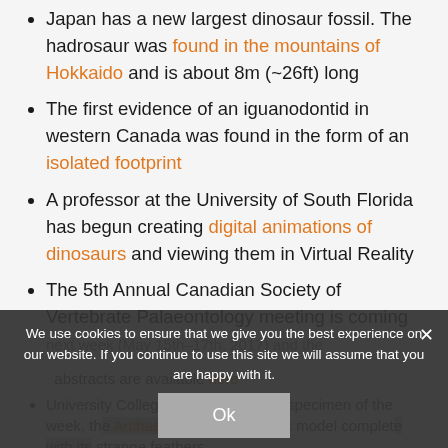Japan has a new largest dinosaur fossil. The hadrosaur was found in the mountains of Hokkaido and is about 8m (~26ft) long
The first evidence of an iguanodontid in western Canada was found in the form of an isolated footprint
A professor at the University of South Florida has begun creating digital animations of dinosaurs and viewing them in Virtual Reality
The 5th Annual Canadian Society of Vertebrate Palaeontology meeting is coming next week (May 15th–17th, 2017) and the abstracts are available here
University College London posted a specimen of the week, the Archaeopterid Proavis wax model complete with its strange feathers
9News shared a feature about Arthur Lakes
We use cookies to ensure that we give you the best experience on our website. If you continue to use this site we will assume that you are happy with it.